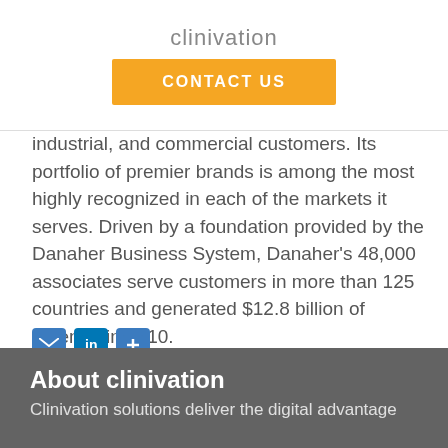clinivation
CONTACT US
industrial, and commercial customers. Its portfolio of premier brands is among the most highly recognized in each of the markets it serves. Driven by a foundation provided by the Danaher Business System, Danaher's 48,000 associates serve customers in more than 125 countries and generated $12.8 billion of revenue in 2010.
[Figure (infographic): Social sharing icons: email (blue), LinkedIn (blue), share/plus (blue)]
About clinivation
Clinivation solutions deliver the digital advantage